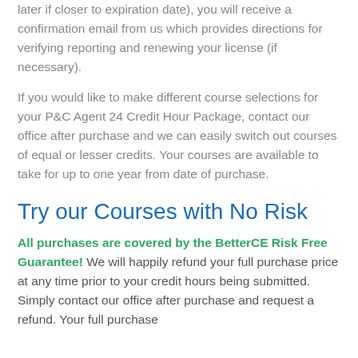later if closer to expiration date), you will receive a confirmation email from us which provides directions for verifying reporting and renewing your license (if necessary).
If you would like to make different course selections for your P&C Agent 24 Credit Hour Package, contact our office after purchase and we can easily switch out courses of equal or lesser credits. Your courses are available to take for up to one year from date of purchase.
Try our Courses with No Risk
All purchases are covered by the BetterCE Risk Free Guarantee! We will happily refund your full purchase price at any time prior to your credit hours being submitted. Simply contact our office after purchase and request a refund. Your full purchase